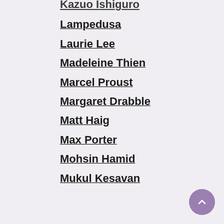Kazuo Ishiguro
Lampedusa
Laurie Lee
Madeleine Thien
Marcel Proust
Margaret Drabble
Matt Haig
Max Porter
Mohsin Hamid
Mukul Kesavan